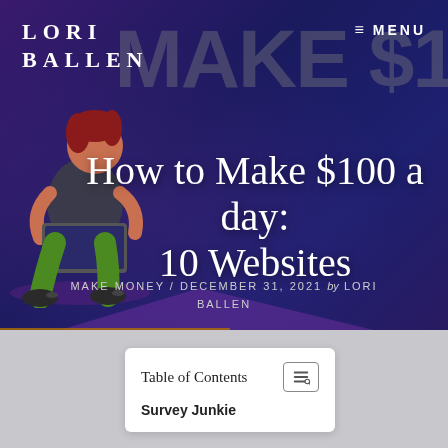LORI BALLEN
≡ MENU
[Figure (illustration): Hero banner with illustrated person sitting with laptop on dark blue/purple background with large 'MAKE $1' text watermark]
How to Make $100 a day: 10 Websites
MAKE MONEY / DECEMBER 31, 2021 by LORI BALLEN
Table of Contents
Survey Junkie